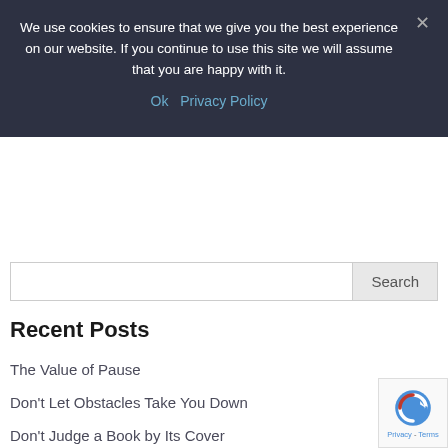We use cookies to ensure that we give you the best experience on our website. If you continue to use this site we will assume that you are happy with it.
Ok  Privacy Policy
Search
Recent Posts
The Value of Pause
Don't Let Obstacles Take You Down
Don't Judge a Book by Its Cover
Do the Next Right Thing
Let Go of Victimhood
Archives
Select Month